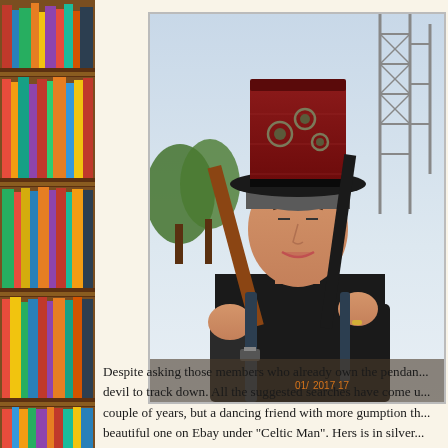[Figure (illustration): Decorative bookshelf on the left margin with colorful book spines in reds, greens, yellows, blues, on wooden shelves]
[Figure (photo): A woman wearing a dark red steampunk-style top hat with metallic gear decorations and a black brim, holding drumsticks or similar sticks over her shoulder, wearing a black t-shirt with a backpack strap visible. Scaffolding and green trees visible in background. Timestamp reads 01/[?] 2017 17...]
Despite asking those members who already own the pendan... devil to track down. All the suggested searches have come u... couple of years, but a dancing friend with more gumption th... beautiful one on Ebay under "Celtic Man". Hers is in silver...